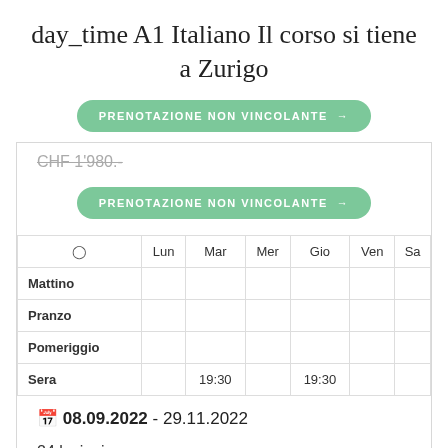day_time A1 Italiano Il corso si tiene a Zurigo
PRENOTAZIONE NON VINCOLANTE →
CHF 1'980.-
PRENOTAZIONE NON VINCOLANTE →
| ⊙ | Lun | Mar | Mer | Gio | Ven | Sa |
| --- | --- | --- | --- | --- | --- | --- |
| Mattino |  |  |  |  |  |  |
| Pranzo |  |  |  |  |  |  |
| Pomeriggio |  |  |  |  |  |  |
| Sera |  | 19:30 |  | 19:30 |  |  |
📅 08.09.2022 - 29.11.2022
24 lezioni